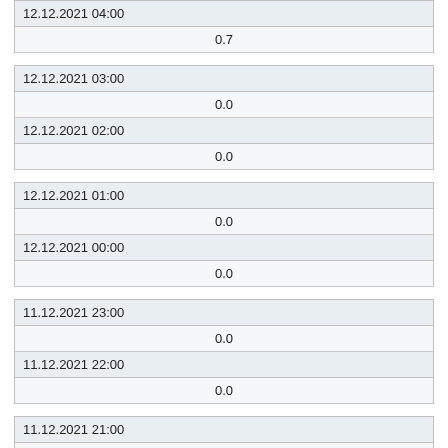| 12.12.2021 04:00 |
| --- |
| 0.7 |
| 12.12.2021 03:00 |
| --- |
| 0.0 |
| 12.12.2021 02:00 |
| --- |
| 0.0 |
| 12.12.2021 01:00 |
| --- |
| 0.0 |
| 12.12.2021 00:00 |
| --- |
| 0.0 |
| 11.12.2021 23:00 |
| --- |
| 0.0 |
| 11.12.2021 22:00 |
| --- |
| 0.0 |
| 11.12.2021 21:00 |
| --- |
| 0.0 |